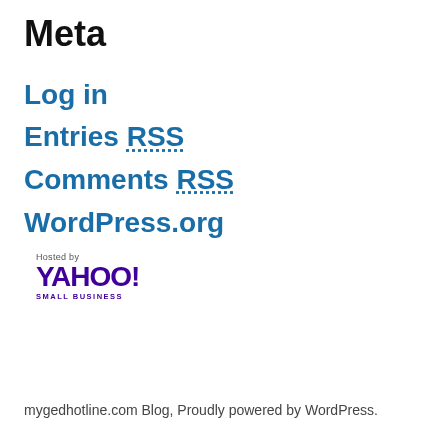Meta
Log in
Entries RSS
Comments RSS
WordPress.org
[Figure (logo): Hosted by Yahoo! Small Business logo]
mygedhotline.com Blog, Proudly powered by WordPress.